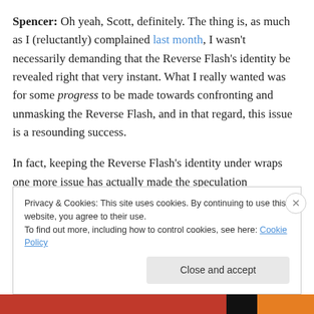Spencer: Oh yeah, Scott, definitely. The thing is, as much as I (reluctantly) complained last month, I wasn't necessarily demanding that the Reverse Flash's identity be revealed right that very instant. What I really wanted was for some progress to be made towards confronting and unmasking the Reverse Flash, and in that regard, this issue is a resounding success.
In fact, keeping the Reverse Flash's identity under wraps one more issue has actually made the speculation surrounding him even more fun for me. When the Reverse
Privacy & Cookies: This site uses cookies. By continuing to use this website, you agree to their use.
To find out more, including how to control cookies, see here: Cookie Policy